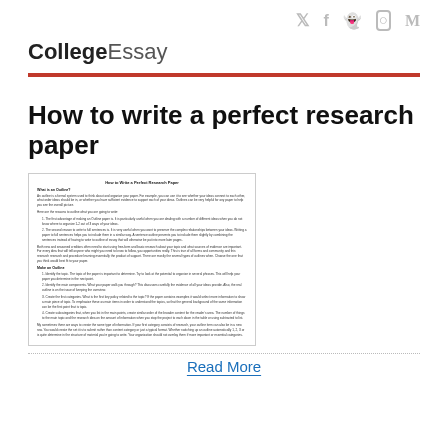Social media icons: Twitter, Facebook, Snapchat, Instagram, Medium
CollegeEssay
How to write a perfect research paper
[Figure (illustration): Preview thumbnail of a document page titled 'How to write a perfect research paper' showing article text with sections including 'What is an Outline?', 'Make an Outline', numbered lists and paragraphs of body text.]
Read More